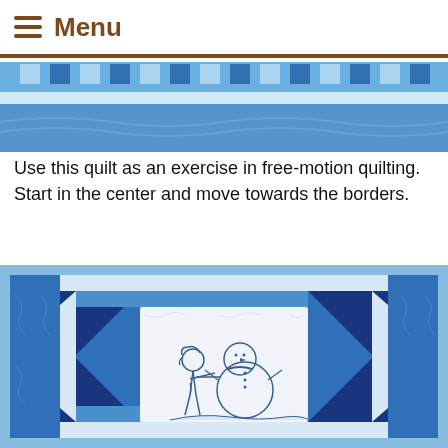Menu
[Figure (photo): Top portion of a blue and white patchwork quilt showing geometric border pattern with small square blocks and striped sections]
Use this quilt as an exercise in free-motion quilting. Start in the center and move towards the borders.
[Figure (photo): Blue and white quilt with a central white panel featuring an embroidered/stitched design of a child building a snowman, surrounded by a geometric star/triangle pattern border in dark blue, medium blue, and white fabrics]